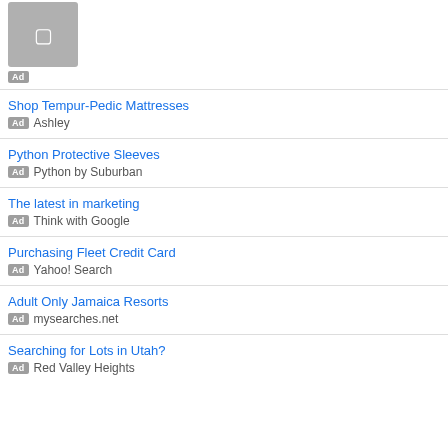[Figure (other): Grey placeholder image block at top left]
Shop Tempur-Pedic Mattresses | Ad - Ashley
Python Protective Sleeves | Ad - Python by Suburban
The latest in marketing | Ad - Think with Google
Purchasing Fleet Credit Card | Ad - Yahoo! Search
Adult Only Jamaica Resorts | Ad - mysearches.net
Searching for Lots in Utah? | Ad - Red Valley Heights